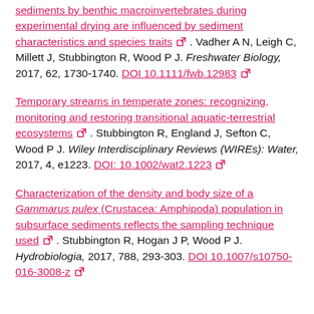sediments by benthic macroinvertebrates during experimental drying are influenced by sediment characteristics and species traits [ext link]. Vadher A N, Leigh C, Millett J, Stubbington R, Wood P J. Freshwater Biology, 2017, 62, 1730-1740. DOI 10.1111/fwb.12983 [ext link]
Temporary streams in temperate zones: recognizing, monitoring and restoring transitional aquatic-terrestrial ecosystems [ext link]. Stubbington R, England J, Sefton C, Wood P J. Wiley Interdisciplinary Reviews (WIREs): Water, 2017, 4, e1223. DOI: 10.1002/wat2.1223 [ext link]
Characterization of the density and body size of a Gammarus pulex (Crustacea: Amphipoda) population in subsurface sediments reflects the sampling technique used [ext link]. Stubbington R, Hogan J P, Wood P J. Hydrobiologia, 2017, 788, 293-303. DOI 10.1007/s10750-016-3008-z [ext link]